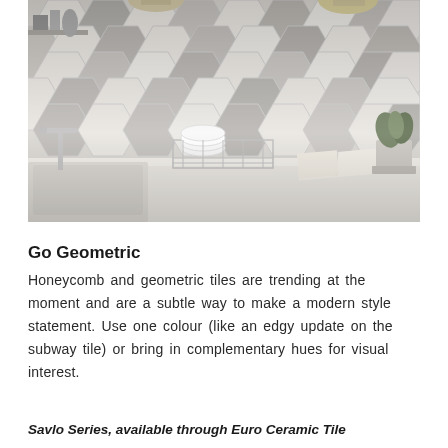[Figure (photo): Kitchen backsplash with hexagonal geometric tiles in white and grey tones. Scene shows a kitchen countertop with a dish rack holding white plates, an open book, a potted plant, a faucet, and hanging wicker pendant lights. The wall is covered in large hexagonal tiles in alternating white and grey.]
Go Geometric
Honeycomb and geometric tiles are trending at the moment and are a subtle way to make a modern style statement. Use one colour (like an edgy update on the subway tile) or bring in complementary hues for visual interest.
Savlo Series, available through Euro Ceramic Tile